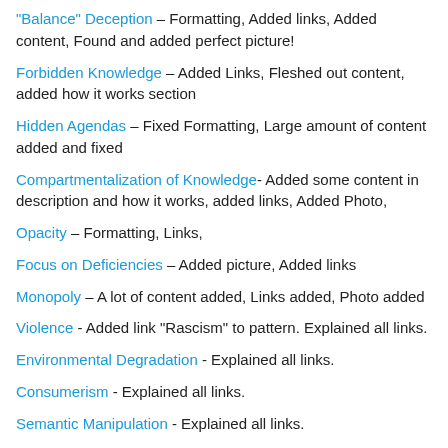"Balance" Deception – Formatting, Added links, Added content, Found and added perfect picture!
Forbidden Knowledge – Added Links, Fleshed out content, added how it works section
Hidden Agendas – Fixed Formatting, Large amount of content added and fixed
Compartmentalization of Knowledge- Added some content in description and how it works, added links, Added Photo,
Opacity – Formatting, Links,
Focus on Deficiencies – Added picture, Added links
Monopoly – A lot of content added, Links added, Photo added
Violence - Added link "Rascism" to pattern. Explained all links.
Environmental Degradation - Explained all links.
Consumerism - Explained all links.
Semantic Manipulation - Explained all links.